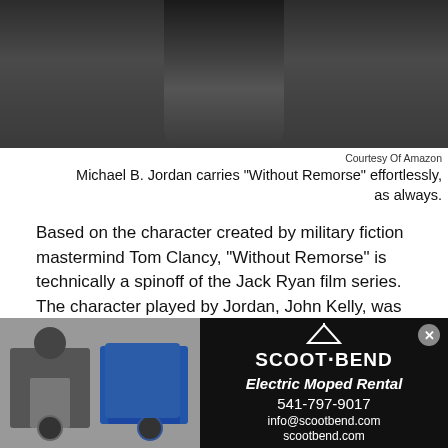[Figure (photo): Top portion of a person in a dark jacket, cropped photo]
Courtesy Of Amazon
Michael B. Jordan carries "Without Remorse" effortlessly, as always.
Based on the character created by military fiction mastermind Tom Clancy, "Without Remorse" is technically a spinoff of the Jack Ryan film series. The character played by Jordan, John Kelly, was played by Willem Dafoe in "Clear and Present Danger" and Liev Schrieber in "The Sum of All Fears." Oh, and he's also a character in the "Rainbow Six" series of video games.
John Kelly is a man who's lost everything. When his
[Figure (photo): Advertisement for Scoot Bend Electric Moped Rental showing two scooters and a person, with contact details: 541-797-9017, info@scootbend.com, scootbend.com]